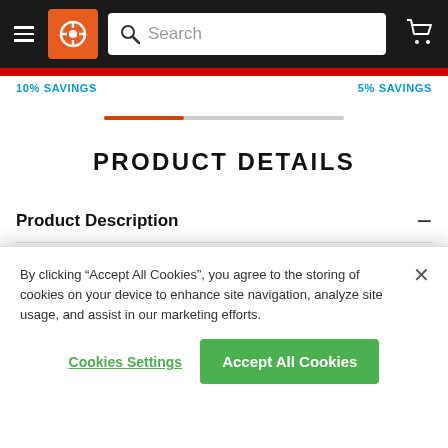Navigation bar with hamburger menu, logo, search bar, and cart icon
10% SAVINGS    5% SAVINGS
[Figure (other): Progress bar with orange fill on left portion and gray track on right]
PRODUCT DETAILS
Product Description
Graves Fender Eliminator Kit Kawasaki Ninja 300
By clicking "Accept All Cookies", you agree to the storing of cookies on your device to enhance site navigation, analyze site usage, and assist in our marketing efforts.